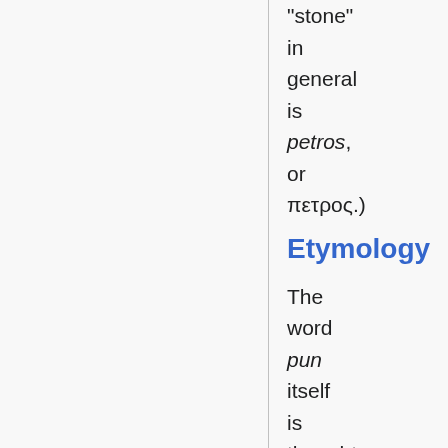"stone" in general is petros, or πετρος.)
Etymology
The word pun itself is thought